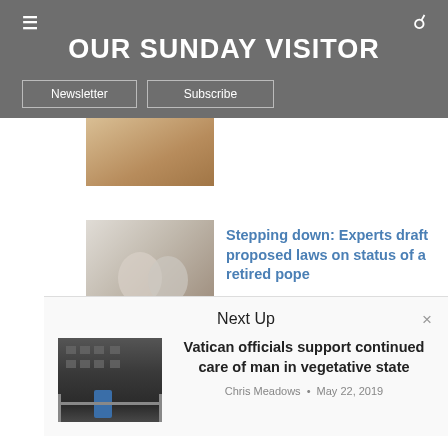OUR SUNDAY VISITOR
Newsletter | Subscribe
[Figure (photo): Partially visible article thumbnail image]
[Figure (photo): Two people in white robes seated, article thumbnail]
Stepping down: Experts draft proposed laws on status of a retired pope
Next Up
[Figure (photo): Building exterior with blue door element, Vatican officials article thumbnail]
Vatican officials support continued care of man in vegetative state
Chris Meadows · May 22, 2019